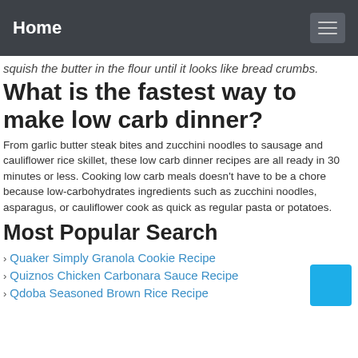Home
squish the butter in the flour until it looks like bread crumbs.
What is the fastest way to make low carb dinner?
From garlic butter steak bites and zucchini noodles to sausage and cauliflower rice skillet, these low carb dinner recipes are all ready in 30 minutes or less. Cooking low carb meals doesn't have to be a chore because low-carbohydrates ingredients such as zucchini noodles, asparagus, or cauliflower cook as quick as regular pasta or potatoes.
Most Popular Search
Quaker Simply Granola Cookie Recipe
Quiznos Chicken Carbonara Sauce Recipe
Qdoba Seasoned Brown Rice Recipe